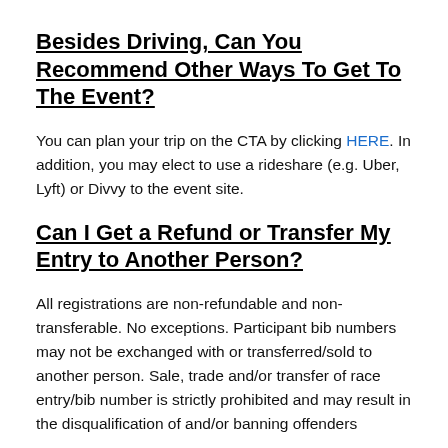Besides Driving, Can You Recommend Other Ways To Get To The Event?
You can plan your trip on the CTA by clicking HERE. In addition, you may elect to use a rideshare (e.g. Uber, Lyft) or Divvy to the event site.
Can I Get a Refund or Transfer My Entry to Another Person?
All registrations are non-refundable and non-transferable. No exceptions. Participant bib numbers may not be exchanged with or transferred/sold to another person. Sale, trade and/or transfer of race entry/bib number is strictly prohibited and may result in the disqualification of and/or banning offenders